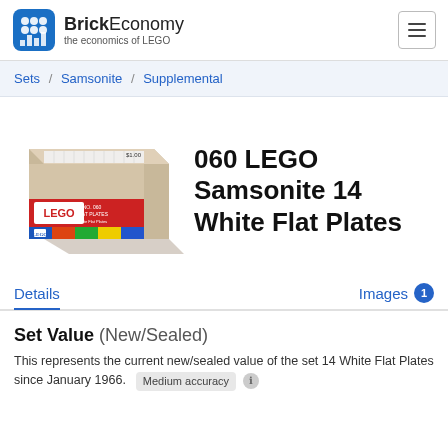BrickEconomy — the economics of LEGO
Sets / Samsonite / Supplemental
[Figure (photo): Product photo of LEGO Samsonite set 060 — 14 White Flat Plates in a cardboard box with LEGO branding and colorful stripes]
060 LEGO Samsonite 14 White Flat Plates
Details    Images 1
Set Value (New/Sealed)
This represents the current new/sealed value of the set 14 White Flat Plates since January 1966.  Medium accuracy